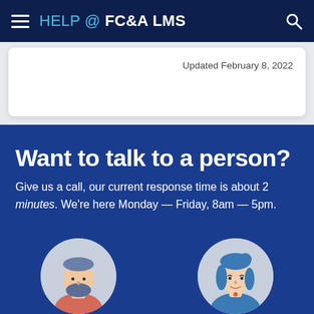HELP @ FC&A LMS
Updated February 8, 2022
Want to talk to a person?
Give us a call, our current response time is about 2 minutes. We’re here Monday — Friday, 8am — 5pm.
[Figure (illustration): Two illustrated avatar icons: a bearded man in a red/pink shirt (left) and a woman with blue hair and blue outfit (right), shown as circular portrait illustrations on a blue background.]